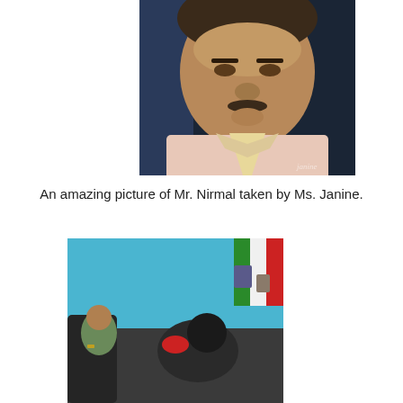[Figure (photo): Close-up portrait of a middle-aged man wearing a light pink shirt with a cream/yellow scarf or tie, dark background, watermark text 'janine' in lower right corner]
An amazing picture of Mr. Nirmal taken by Ms. Janine.
[Figure (photo): Overhead view of a room with light blue walls, a person sitting in a chair being attended to by another person leaning over them, a flag (possibly Italian or Mexican) visible on the right side, dark furniture]